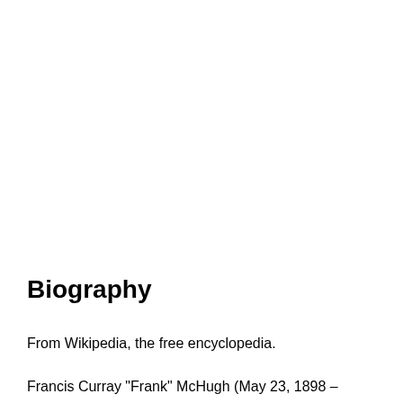Biography
From Wikipedia, the free encyclopedia.
Francis Curray "Frank" McHugh (May 23, 1898 –